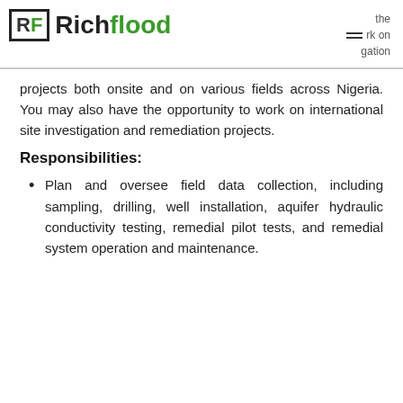RF Richflood
projects both onsite and on various fields across Nigeria. You may also have the opportunity to work on international site investigation and remediation projects.
Responsibilities:
Plan and oversee field data collection, including sampling, drilling, well installation, aquifer hydraulic conductivity testing, remedial pilot tests, and remedial system operation and maintenance.